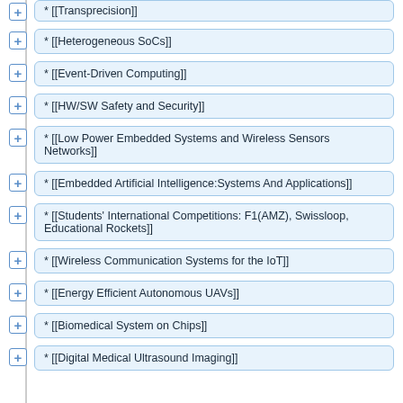* [[Transprecision]]
* [[Heterogeneous SoCs]]
* [[Event-Driven Computing]]
* [[HW/SW Safety and Security]]
* [[Low Power Embedded Systems and Wireless Sensors Networks]]
* [[Embedded Artificial Intelligence:Systems And Applications]]
* [[Students' International Competitions: F1(AMZ), Swissloop, Educational Rockets]]
* [[Wireless Communication Systems for the IoT]]
* [[Energy Efficient Autonomous UAVs]]
* [[Biomedical System on Chips]]
* [[Digital Medical Ultrasound Imaging]]